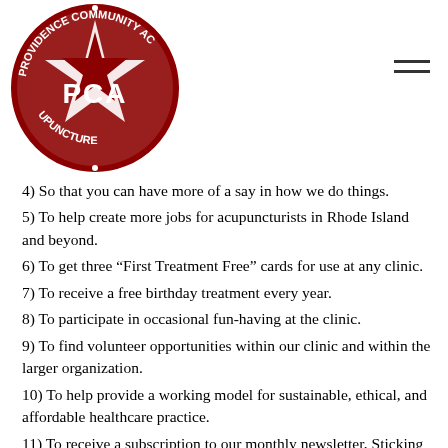[Figure (logo): PCA (Providence Community Acupuncture) circular red and white logo with star and text around the border]
4) So that you can have more of a say in how we do things.
5) To help create more jobs for acupuncturists in Rhode Island and beyond.
6) To get three “First Treatment Free” cards for use at any clinic.
7) To receive a free birthday treatment every year.
8) To participate in occasional fun-having at the clinic.
9) To find volunteer opportunities within our clinic and within the larger organization.
10) To help provide a working model for sustainable, ethical, and affordable healthcare practice.
11) To receive a subscription to our monthly newsletter, Sticking Together.